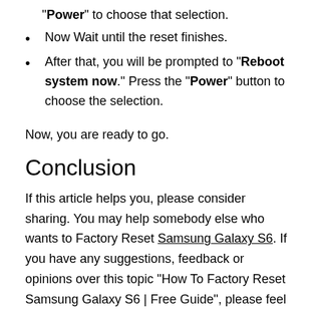“Power” to choose that selection.
Now Wait until the reset finishes.
After that, you will be prompted to “Reboot system now.” Press the “Power” button to choose the selection.
Now, you are ready to go.
Conclusion
If this article helps you, please consider sharing. You may help somebody else who wants to Factory Reset Samsung Galaxy S6. If you have any suggestions, feedback or opinions over this topic “How To Factory Reset Samsung Galaxy S6 | Free Guide”, please feel free to speak with us in the